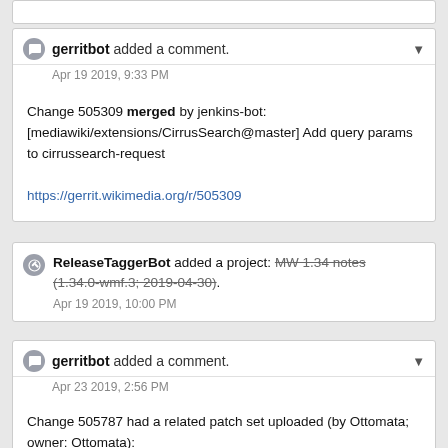gerritbot added a comment. Apr 19 2019, 9:33 PM
Change 505309 merged by jenkins-bot: [mediawiki/extensions/CirrusSearch@master] Add query params to cirrussearch-request
https://gerrit.wikimedia.org/r/505309
ReleaseTaggerBot added a project: MW 1.34 notes (1.34.0-wmf.3; 2019-04-30). Apr 19 2019, 10:00 PM
gerritbot added a comment. Apr 23 2019, 2:56 PM
Change 505787 had a related patch set uploaded (by Ottomata; owner: Ottomata): [operations/mediawiki-config@master] Enable api-request logging to EventGate on all wikis